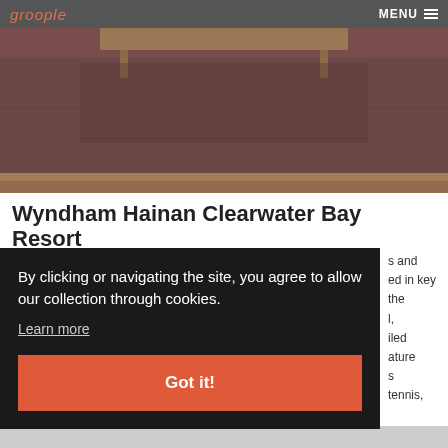groople   MENU
[Figure (photo): Hotel room interior showing a table and dark brownish-purple carpet, wooden furniture visible]
Wyndham Hainan Clearwater Bay Resort
Chiling Sightseeing Area Lingshui, 572427 CN
By clicking or navigating the site, you agree to allow our collection through cookies.
Learn more
Got it!